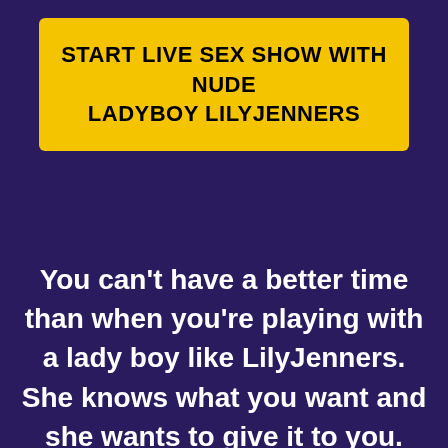START LIVE SEX SHOW WITH NUDE LADYBOY LILYJENNERS
You can’t have a better time than when you’re playing with a lady boy like LilyJenners. She knows what you want and she wants to give it to you. You don’t have to ask LilyJenners for a single thing